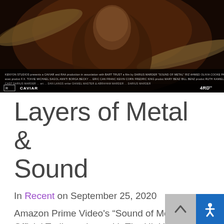[Figure (photo): Movie poster/trailer image for 'Sound of Metal' showing a shirtless male drummer with cymbal, dark moody lighting, with film credits text at bottom including CAVIAR logo and rated R, and '4RD' studio logo]
Layers of Metal & Sound
In Recent on September 25, 2020
Amazon Prime Video's “Sound of Metal” Official Trailer arrives with The Hit House’s Sounds Even moments of stillness need sound…